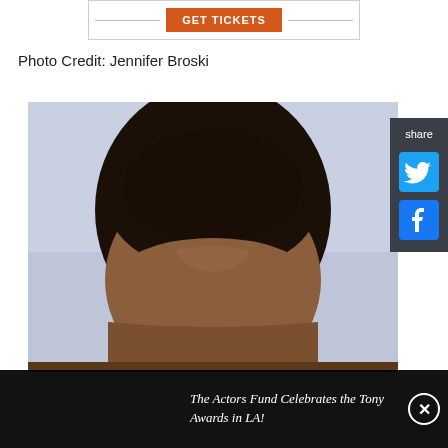[Figure (other): GET TICKETS advertisement banner with orange button and decorative lines]
Photo Credit: Jennifer Broski
[Figure (photo): Close-up photo of the top of a person's head with dark short hair against a light blue-gray background]
The Actors Fund Celebrates the Tony Awards in LA!